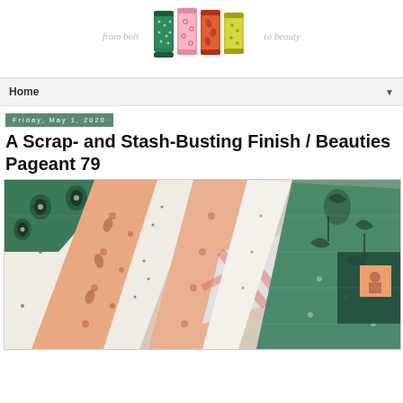from bolt to beauty (logo with colorful fabric spools)
Home
Friday, May 1, 2020
A Scrap- and Stash-Busting Finish / Beauties Pageant 79
[Figure (photo): Close-up photograph of a patchwork quilt showing various fabric patterns including green prints with eyes/circles, white with small black dots, peach/orange floral prints, red and white gingham, and dark teal/green prints with botanical motifs. The quilt blocks are arranged in a log cabin or similar block pattern.]